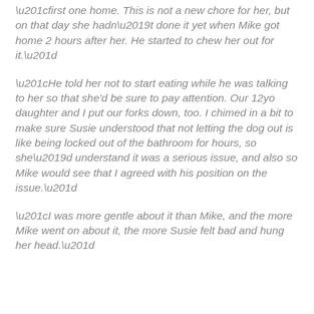“first one home. This is not a new chore for her, but on that day she hadn’t done it yet when Mike got home 2 hours after her. He started to chew her out for it.”
“He told her not to start eating while he was talking to her so that she'd be sure to pay attention. Our 12yo daughter and I put our forks down, too. I chimed in a bit to make sure Susie understood that not letting the dog out is like being locked out of the bathroom for hours, so she’d understand it was a serious issue, and also so Mike would see that I agreed with his position on the issue.”
“I was more gentle about it than Mike, and the more Mike went on about it, the more Susie felt bad and hung her head.”